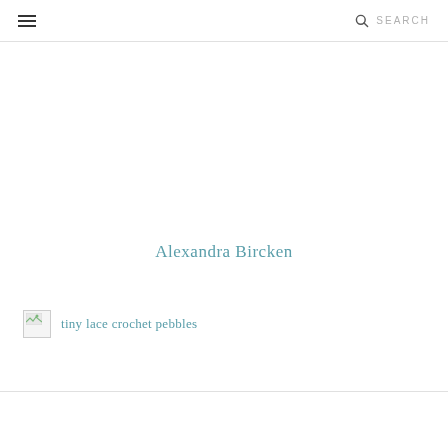☰  SEARCH
Alexandra Bircken
[Figure (photo): Broken image placeholder with alt text 'tiny lace crochet pebbles']